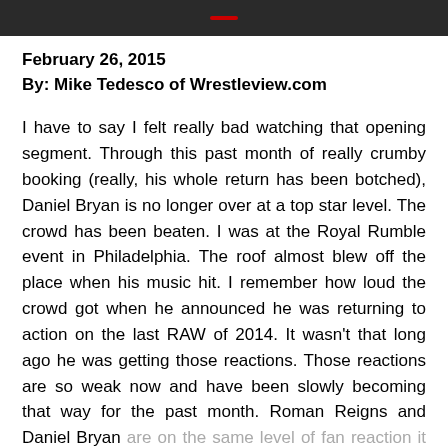February 26, 2015
By: Mike Tedesco of Wrestleview.com
I have to say I felt really bad watching that opening segment. Through this past month of really crumby booking (really, his whole return has been botched), Daniel Bryan is no longer over at a top star level. The crowd has been beaten. I was at the Royal Rumble event in Philadelphia. The roof almost blew off the place when his music hit. I remember how loud the crowd got when he announced he was returning to action on the last RAW of 2014. It wasn't that long ago he was getting those reactions. Those reactions are so weak now and have been slowly becoming that way for the past month. Roman Reigns and Daniel Bryan are on the same level of fan reaction it seems now. Perhaps Bryan has a slight edge, but not much more. It's just such a damn shame, because organiz...